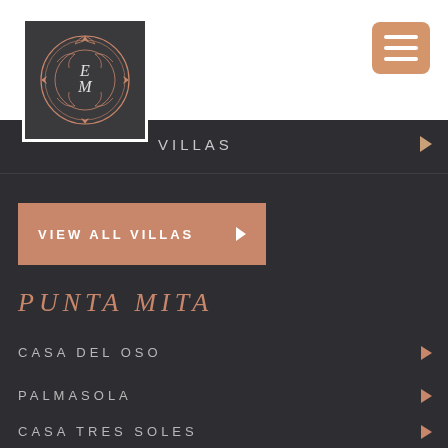[Figure (logo): EM monogram logo in ornate circular frame on dark background with white border]
[Figure (other): Hamburger menu button, salmon/peach colored rounded rectangle with three white horizontal lines]
VILLAS
[Figure (other): VIEW ALL VILLAS button with arrow, salmon colored rectangle]
PUNTA MITA
CASA DEL OSO
PALMASOLA
CASA TRES SOLES